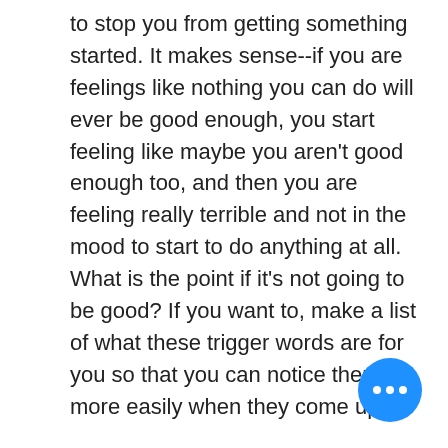to stop you from getting something started. It makes sense--if you are feelings like nothing you can do will ever be good enough, you start feeling like maybe you aren't good enough too, and then you are feeling really terrible and not in the mood to start to do anything at all. What is the point if it's not going to be good? If you want to, make a list of what these trigger words are for you so that you can notice them more easily when they come up.
2. Notice it. Grow comfortable simply noticing that procrastination is showing up. There's no pressure to deal with